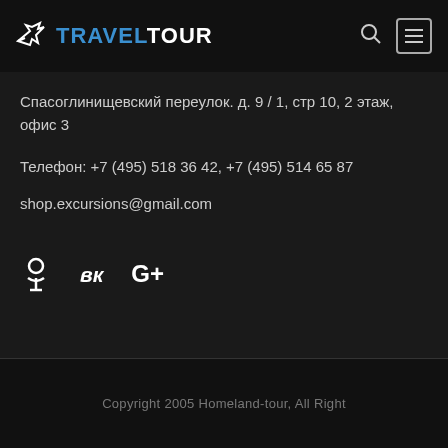TRAVEL TOUR
Спасоглинищевский переулок. д. 9 / 1, стр 10, 2 этаж, офис 3
Телефон: +7 (495) 518 36 42, +7 (495) 514 65 87
shop.excursions@gmail.com
[Figure (other): Social media icons row: Odnoklassniki (О), VK (Вк), Google+ (G+)]
Copyright 2005 Homeland-tour, All Right